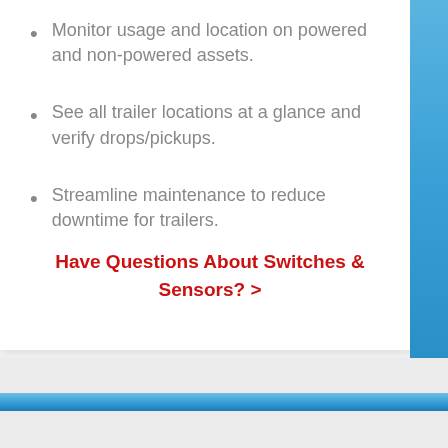Monitor usage and location on powered and non-powered assets.
See all trailer locations at a glance and verify drops/pickups.
Streamline maintenance to reduce downtime for trailers.
Have Questions About Switches & Sensors? >